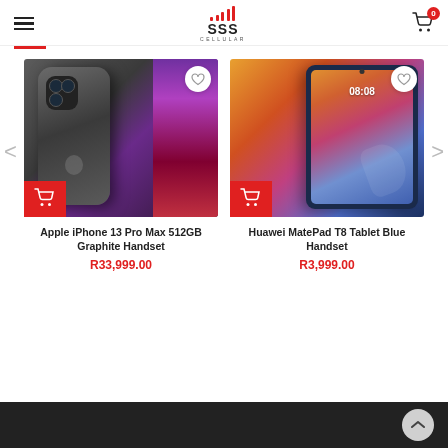[Figure (logo): SSS Cellular logo with signal bars icon at top center of page]
[Figure (photo): Apple iPhone 13 Pro Max 512GB Graphite Handset product image with cart button and wishlist heart]
Apple iPhone 13 Pro Max 512GB Graphite Handset
R33,999.00
[Figure (photo): Huawei MatePad T8 Tablet Blue Handset product image with cart button and wishlist heart]
Huawei MatePad T8 Tablet Blue Handset
R3,999.00